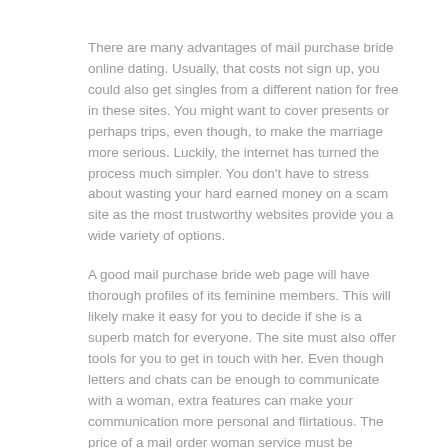There are many advantages of mail purchase bride online dating. Usually, that costs not sign up, you could also get singles from a different nation for free in these sites. You might want to cover presents or perhaps trips, even though, to make the marriage more serious. Luckily, the internet has turned the process much simpler. You don't have to stress about wasting your hard earned money on a scam site as the most trustworthy websites provide you a wide variety of options.
A good mail purchase bride web page will have thorough profiles of its feminine members. This will likely make it easy for you to decide if she is a superb match for everyone. The site must also offer tools for you to get in touch with her. Even though letters and chats can be enough to communicate with a woman, extra features can make your communication more personal and flirtatious. The price of a mail order woman service must be reasonable. A very good site charge a fee depending upon how long the interaction will need, so that you have to consider this factor when choosing a service.